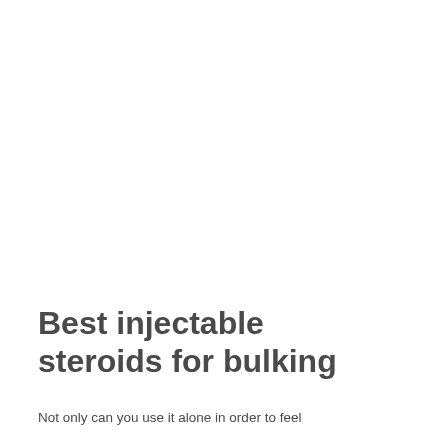Best injectable steroids for bulking
Not only can you use it alone in order to feel